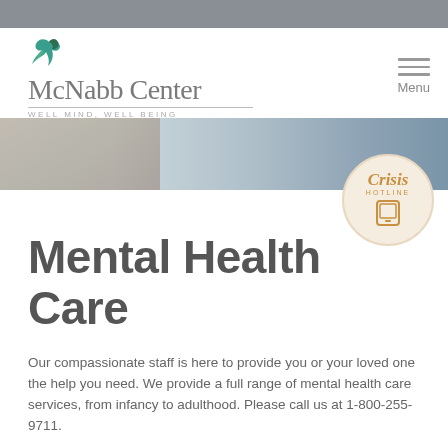McNabb Center — WELL MIND, WELL BEING
[Figure (screenshot): Hero banner image showing hands/person in blue-gray tones with a circular Crisis Hotline badge overlay showing a phone icon]
Mental Health Care
Our compassionate staff is here to provide you or your loved one the help you need. We provide a full range of mental health care services, from infancy to adulthood. Please call us at 1-800-255-9711.
Adult Crisis Services